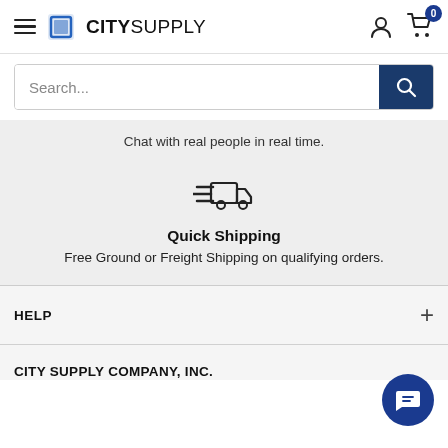[Figure (logo): City Supply logo with hamburger menu icon, blue document icon, and CITYSUPPLY text, plus user account and cart icons on the right]
[Figure (screenshot): Search bar with placeholder text 'Search...' and a dark blue search button with magnifying glass icon]
Chat with real people in real time.
[Figure (illustration): Quick shipping truck icon with speed lines]
Quick Shipping
Free Ground or Freight Shipping on qualifying orders.
HELP
CITY SUPPLY COMPANY, INC.
[Figure (illustration): Blue circular chat bubble button in bottom right corner]